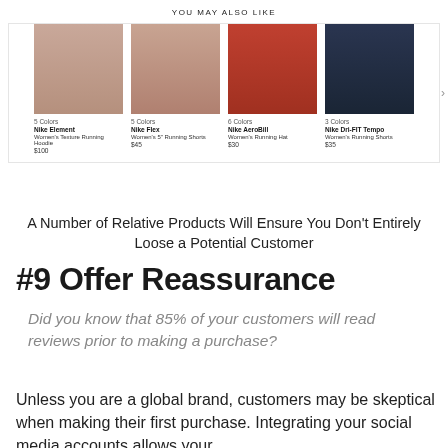[Figure (screenshot): Nike product recommendation section titled 'YOU MAY ALSO LIKE' showing four products: Nike Element Women's Texture Running Hoodie ($100, 5 Colors), Nike Flex Women's 5" Running Shorts ($45, 5 Colors), Nike AeroBill Women's Running Hat ($30, 6 Colors), Nike Dri-FIT Tempo Women's Running Shorts ($35, 3 Colors)]
A Number of Relative Products Will Ensure You Don’t Entirely Loose a Potential Customer
#9 Offer Reassurance
Did you know that 85% of your customers will read reviews prior to making a purchase?
Unless you are a global brand, customers may be skeptical when making their first purchase. Integrating your social media accounts allows your